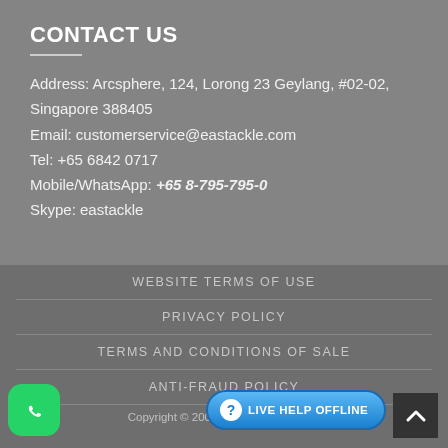CONTACT US
Address: Arcsphere, 124, Lorong 23 Geylang, #02-02, Singapore 388405
Email: customerservice@eastackle.com
Tel: +65 6842 0717
Mobile/WhatsApp: +65 8-795-795-0
Skype: eastackle
WEBSITE TERMS OF USE
PRIVACY POLICY
TERMS AND CONDITIONS OF SALE
ANTI-FRAUD POLICY
Copyright © 2006-2014 Eastackle Pte Ltd. All rights reserved. Co. Reg. No.: 201300014D